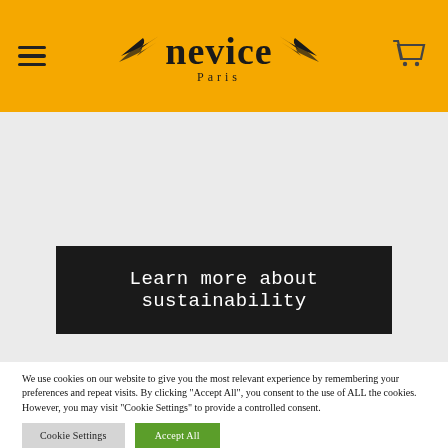nevice Paris — navigation header with hamburger menu and cart icon
[Figure (screenshot): Gray content area with a black CTA button reading 'Learn more about sustainability']
We use cookies on our website to give you the most relevant experience by remembering your preferences and repeat visits. By clicking "Accept All", you consent to the use of ALL the cookies. However, you may visit "Cookie Settings" to provide a controlled consent.
Cookie Settings | Accept All